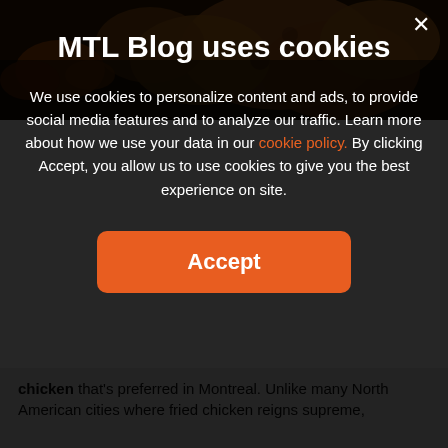[Figure (photo): Background photo of fried chicken and carrots on a plate, partially visible behind dark modal overlay]
MTL Blog uses cookies
We use cookies to personalize content and ads, to provide social media features and to analyze our traffic. Learn more about how we use your data in our cookie policy. By clicking Accept, you allow us to use cookies to give you the best experience on site.
Accept
chicken that's preferred in Montreal. Unlike many North American cities where fried chicken reigns supreme,